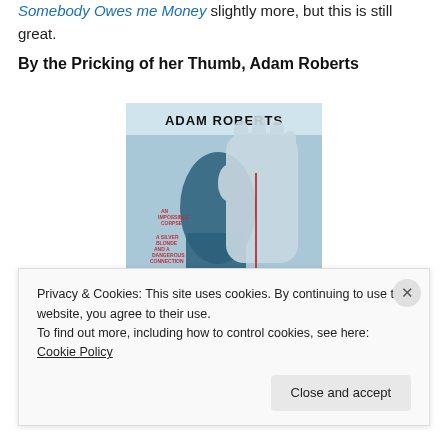Somebody Owes me Money slightly more, but this is still great.
By the Pricking of her Thumb, Adam Roberts
[Figure (illustration): Book cover of 'By the Pricking of Her Thumb' by Adam Roberts, featuring a blue silhouette of a face with a large hand overlaid, red drips, and the title in white text at the bottom on a light blue background.]
Privacy & Cookies: This site uses cookies. By continuing to use this website, you agree to their use.
To find out more, including how to control cookies, see here: Cookie Policy
Close and accept